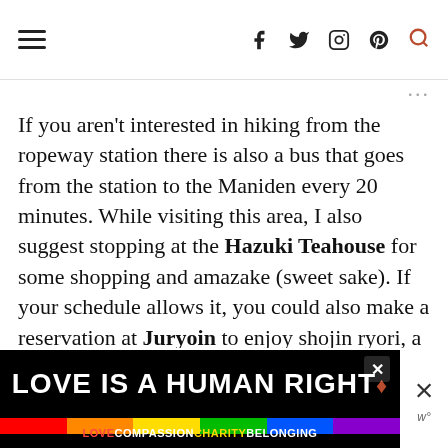Navigation header with hamburger menu and social icons (f, twitter, instagram, pinterest, search)
If you aren't interested in hiking from the ropeway station there is also a bus that goes from the station to the Maniden every 20 minutes. While visiting this area, I also suggest stopping at the Hazuki Teahouse for some shopping and amazake (sweet sake). If your schedule allows it, you could also make a reservation at Juryoin to enjoy shojin ryori, a traditional Buddhist
[Figure (screenshot): Advertisement banner: LOVE IS A HUMAN RIGHT with rainbow bar and LOVECOMPASSIONCHARITYBELONGING text below]